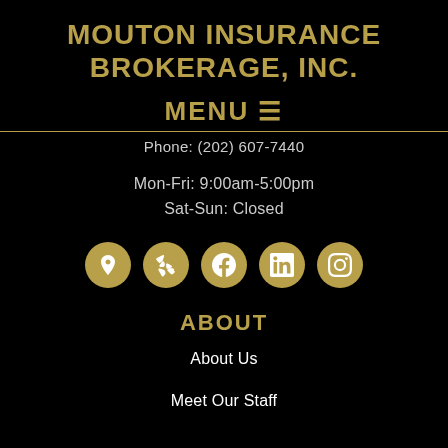MOUTON INSURANCE BROKERAGE, INC.
MENU ☰
Phone: (202) 607-7440
Mon-Fri: 9:00am-5:00pm
Sat-Sun: Closed
[Figure (infographic): Row of 5 social media icon circles (gold background, white icons): location/map pin, Yelp, Facebook, LinkedIn, Instagram]
ABOUT
About Us
Meet Our Staff